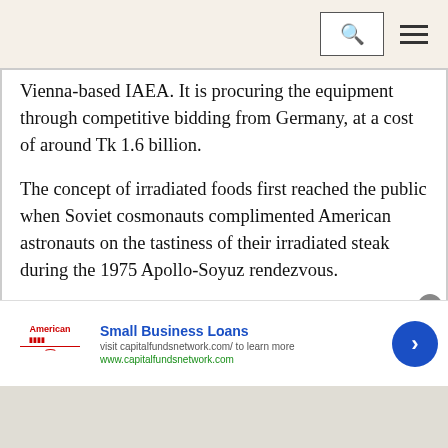[Search] [Menu]
Vienna-based IAEA. It is procuring the equipment through competitive bidding from Germany, at a cost of around Tk 1.6 billion.
The concept of irradiated foods first reached the public when Soviet cosmonauts complimented American astronauts on the tastiness of their irradiated steak during the 1975 Apollo-Soyuz rendezvous.
Now China is the biggest user of the technology. Malaysia, Indonesia, Pakistan and Thailand also use it as the European Union allows the
[Figure (advertisement): Small Business Loans ad banner with AmericanFunds logo, text 'visit capitalfundsnetwork.com/ to learn more', 'www.capitalfundsnetwork.com', and a blue arrow button]